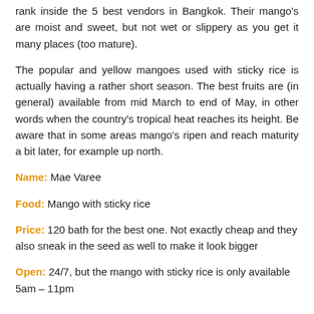rank inside the 5 best vendors in Bangkok. Their mango's are moist and sweet, but not wet or slippery as you get it many places (too mature).
The popular and yellow mangoes used with sticky rice is actually having a rather short season. The best fruits are (in general) available from mid March to end of May, in other words when the country's tropical heat reaches its height. Be aware that in some areas mango's ripen and reach maturity a bit later, for example up north.
Name: Mae Varee
Food: Mango with sticky rice
Price: 120 bath for the best one. Not exactly cheap and they also sneak in the seed as well to make it look bigger
Open: 24/7, but the mango with sticky rice is only available 5am – 11pm